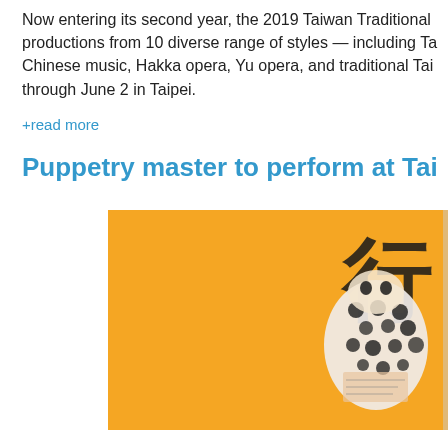Now entering its second year, the 2019 Taiwan Traditional productions from 10 diverse range of styles — including Ta Chinese music, Hakka opera, Yu opera, and traditional Tai through June 2 in Taipei.
+read more
Puppetry master to perform at Tai
[Figure (photo): Orange/yellow background with a blurred puppet or performance-related image featuring black and white elements, with Chinese characters visible at the top right.]